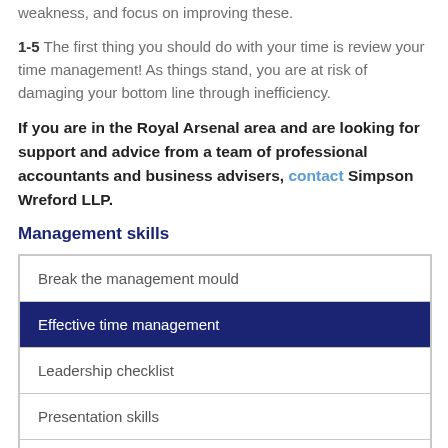weakness, and focus on improving these.
1-5 The first thing you should do with your time is review your time management! As things stand, you are at risk of damaging your bottom line through inefficiency.
If you are in the Royal Arsenal area and are looking for support and advice from a team of professional accountants and business advisers, contact Simpson Wreford LLP.
Management skills
| Break the management mould |
| Effective time management |
| Leadership checklist |
| Presentation skills |